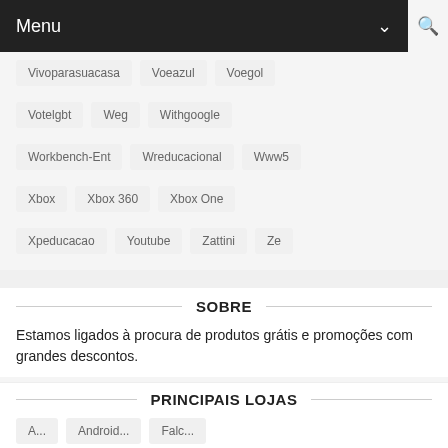Menu
Vivoparasuacasa
Voeazul
Voegol
Votelgbt
Weg
Withgoogle
Workbench-Ent
Wreducacional
Www5
Xbox
Xbox 360
Xbox One
Xpeducacao
Youtube
Zattini
Ze
SOBRE
Estamos ligados à procura de produtos grátis e promoções com grandes descontos.
PRINCIPAIS LOJAS
A...
Android...
Falc...